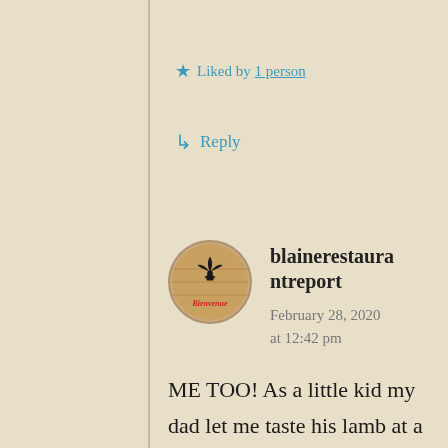★ Liked by 1 person
↳ Reply
blainerestaur antreport
February 28, 2020 at 12:42 pm
ME TOO! As a little kid my dad let me taste his lamb at a restaurant one night. I loved it! I'm 55 a little still prefer it